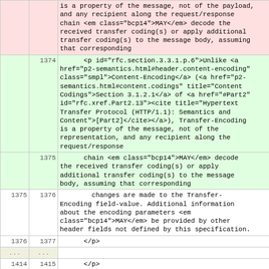|  |  | content |
| --- | --- | --- |
|  |  | is a property of the message, not of the payload, and any recipient along the request/response chain <em class="bcp14">MAY</em> decode the received transfer coding(s) or apply additional transfer coding(s) to the message body, assuming that corresponding |
|  | 1374 | <p id="rfc.section.3.3.1.p.6">Unlike <a href="p2-semantics.html#header.content-encoding" class="smpl">Content-Encoding</a> (<a href="p2-semantics.html#content.codings" title="Content Codings">Section 3.1.2.1</a> of <a href="#Part2" id="rfc.xref.Part2.13"><cite title="Hypertext Transfer Protocol (HTTP/1.1): Semantics and Content">[Part2]</cite></a>), Transfer-Encoding is a property of the message, not of the representation, and any recipient along the request/response |
|  | 1375 | chain <em class="bcp14">MAY</em> decode the received transfer coding(s) or apply additional transfer coding(s) to the message body, assuming that corresponding |
| 1375 | 1376 | changes are made to the Transfer-Encoding field-value. Additional information about the encoding parameters <em class="bcp14">MAY</em> be provided by other header fields not defined by this specification. |
| 1376 | 1377 | </p> |
| ... | ... |  |
| 1414 | 1415 | </p> |
| 1415 | 1416 | <p id="rfc.section.3.3.2.p.11">Any Content-Length field value greater than or equal to zero is valid. Since there is no predefined limit to the length of |
| 1416 |  | an HTTP payload, recipients <em class="bcp14">SHOULD</em> anticipate potentially large decimal numerals and prevent parsing errors due to integer conversion overflow (<a |